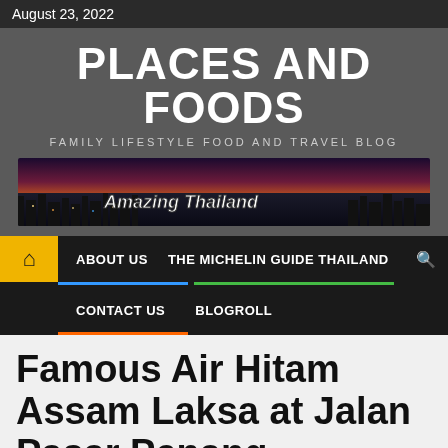August 23, 2022
PLACES AND FOODS
FAMILY LIFESTYLE FOOD AND TRAVEL BLOG
[Figure (photo): Aerial night cityscape with orange-red sunset sky and 'Amazing Thailand' text overlay]
🏠  ABOUT US   THE MICHELIN GUIDE THAILAND  🔍  CONTACT US  BLOGROLL
Famous Air Hitam Assam Laksa at Jalan Pasar Penang